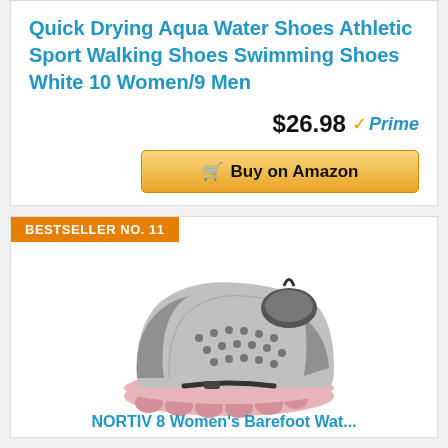Quick Drying Aqua Water Shoes Athletic Sport Walking Shoes Swimming Shoes White 10 Women/9 Men
$26.98 Prime
Buy on Amazon
BESTSELLER NO. 11
[Figure (photo): Gray and pink water/aqua shoe with mesh upper and pink sole, photographed at an angle]
NORTIV 8 Women's Barefoot Wat...